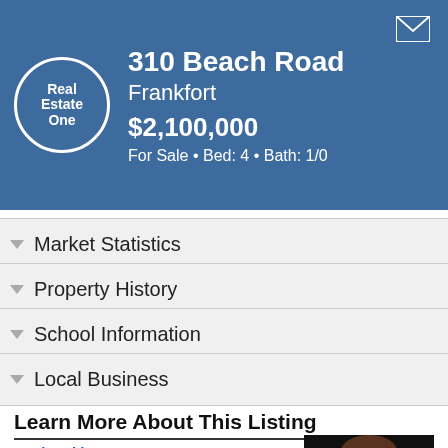Real Estate One — 310 Beach Road, Frankfort — $2,100,000 — For Sale • Bed: 4 • Bath: 1/0
Market Statistics
Property History
School Information
Local Business
Learn More About This Listing
Listed by Suzanne Voltz
231-651-9711
Beulah
[Figure (photo): Headshot portrait of Suzanne Voltz, a woman with short brown hair, smiling, against a dark background, wearing a light colored jacket]